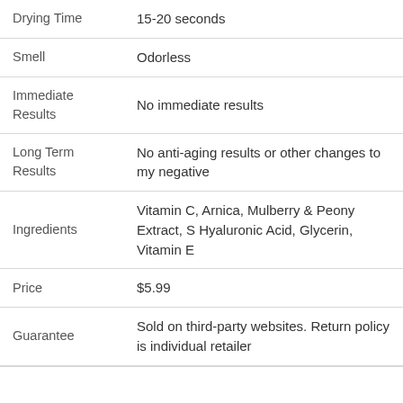| Property | Value |
| --- | --- |
| Drying Time | 15-20 seconds |
| Smell | Odorless |
| Immediate Results | No immediate results |
| Long Term Results | No anti-aging results or other changes to my negative |
| Ingredients | Vitamin C, Arnica, Mulberry & Peony Extract, S Hyaluronic Acid, Glycerin, Vitamin E |
| Price | $5.99 |
| Guarantee | Sold on third-party websites. Return policy is individual retailer |